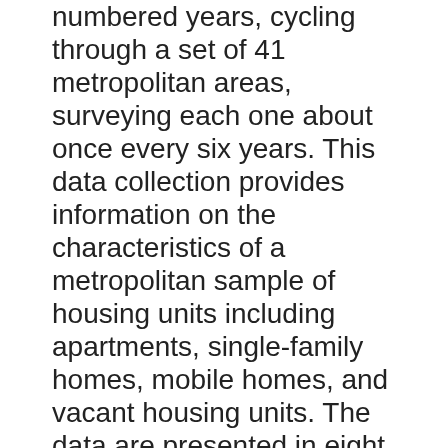numbered years, cycling through a set of 41 metropolitan areas, surveying each one about once every six years. This data collection provides information on the characteristics of a metropolitan sample of housing units including apartments, single-family homes, mobile homes, and vacant housing units. The data are presented in eight separate parts: Part 1, Work Done Record (Replacement or Addition to the House), Part 2, Worker Record, Part 3, Mortgages (Owners Only), Part 4, Housing Unit Record (Main Record), Recodes (One Record per Housing Unit), and Weights, Part 5, Manager and Owner Record (Renters Only),